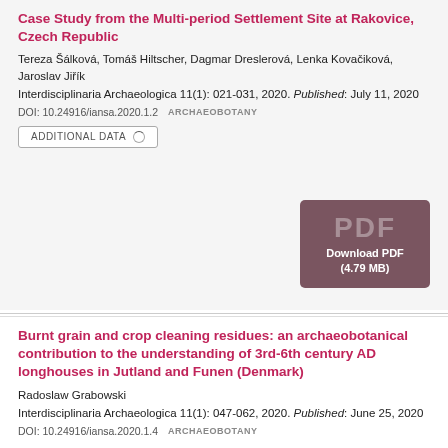Case Study from the Multi-period Settlement Site at Rakovice, Czech Republic
Tereza Šálková, Tomáš Hiltscher, Dagmar Dreslerová, Lenka Kovačiková, Jaroslav Jiřík
Interdisciplinaria Archaeologica 11(1): 021-031, 2020. Published: July 11, 2020
DOI: 10.24916/iansa.2020.1.2   ARCHAEOBOTANY
ADDITIONAL DATA
[Figure (other): Download PDF button showing PDF text and (4.79 MB) label on dark brownish-purple background]
Burnt grain and crop cleaning residues: an archaeobotanical contribution to the understanding of 3rd-6th century AD longhouses in Jutland and Funen (Denmark)
Radoslaw Grabowski
Interdisciplinaria Archaeologica 11(1): 047-062, 2020. Published: June 25, 2020
DOI: 10.24916/iansa.2020.1.4   ARCHAEOBOTANY